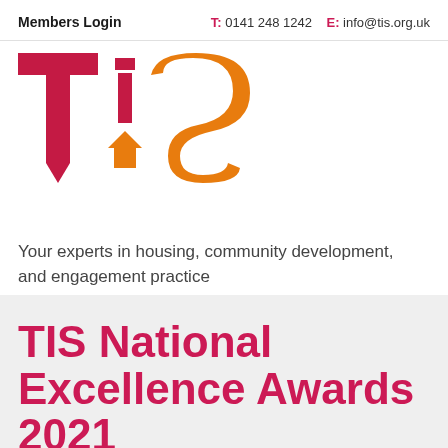Members Login   T: 0141 248 1242   E: info@tis.org.uk
[Figure (logo): TIS logo — large stylized letters T, i, S in crimson/red and orange, with a small house icon as the dot on the i]
Your experts in housing, community development, and engagement practice
TIS National Excellence Awards 2021